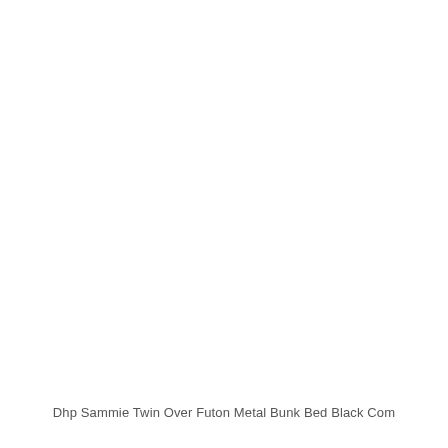Dhp Sammie Twin Over Futon Metal Bunk Bed Black Com